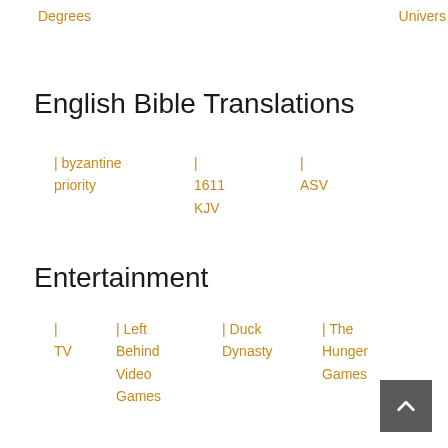Degrees | Univers
English Bible Translations
| byzantine priority
| 1611 KJV
| ASV
Entertainment
| TV
| Left Behind Video Games
| Duck Dynasty
| The Hunger Games